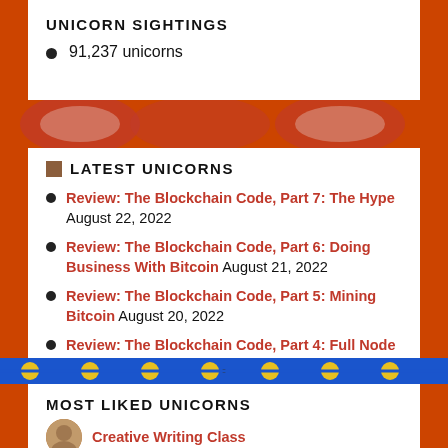UNICORN SIGHTINGS
91,237 unicorns
LATEST UNICORNS
Review: The Blockchain Code, Part 7: The Hype August 22, 2022
Review: The Blockchain Code, Part 6: Doing Business With Bitcoin August 21, 2022
Review: The Blockchain Code, Part 5: Mining Bitcoin August 20, 2022
Review: The Blockchain Code, Part 4: Full Node Bitcoin August 18, 2022
Review: The Blockchain Code, Part 3: Scratching the Surface August 16, 2022
MOST LIKED UNICORNS
Creative Writing Class